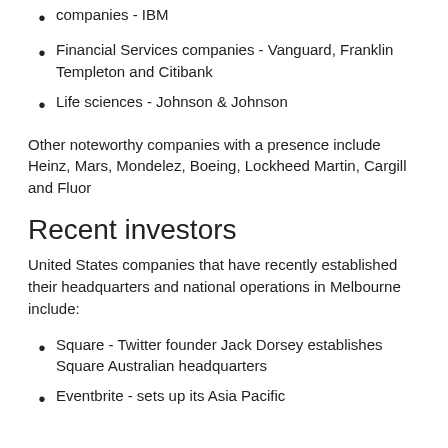companies - IBM
Financial Services companies - Vanguard, Franklin Templeton and Citibank
Life sciences - Johnson & Johnson
Other noteworthy companies with a presence include Heinz, Mars, Mondelez, Boeing, Lockheed Martin, Cargill and Fluor
Recent investors
United States companies that have recently established their headquarters and national operations in Melbourne include:
Square - Twitter founder Jack Dorsey establishes Square Australian headquarters
Eventbrite - sets up its Asia Pacific